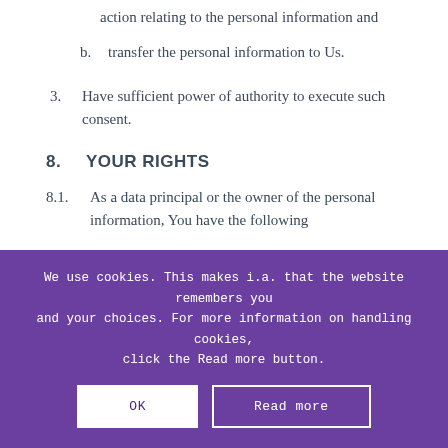action relating to the personal information and
b. transfer the personal information to Us.
3. Have sufficient power of authority to execute such consent.
8. YOUR RIGHTS
8.1. As a data principal or the owner of the personal information, You have the following
We use cookies. This makes i.a. that the website remembers you and your choices. For more information on handling cookies, click the Read more button.